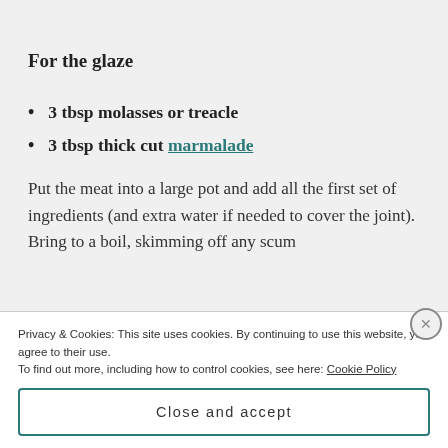For the glaze
3 tbsp molasses or treacle
3 tbsp thick cut marmalade
Put the meat into a large pot and add all the first set of ingredients (and extra water if needed to cover the joint). Bring to a boil, skimming off any scum
Privacy & Cookies: This site uses cookies. By continuing to use this website, you agree to their use.
To find out more, including how to control cookies, see here: Cookie Policy
Close and accept